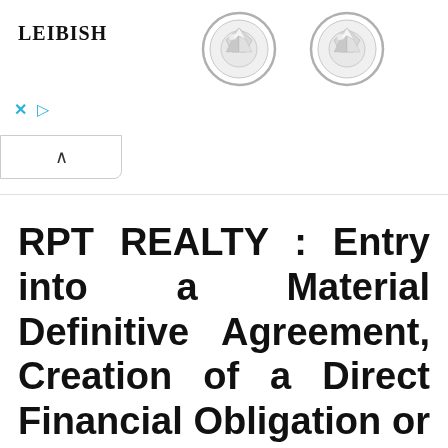[Figure (advertisement): Leibish jewelry advertisement banner showing two diamond stud earrings in round bezel settings on a white background, with the LEIBISH brand name on the left, and X and play button controls below.]
RPT REALTY : Entry into a Material Definitive Agreement, Creation of a Direct Financial Obligation or an Obligation under an Off-Balance